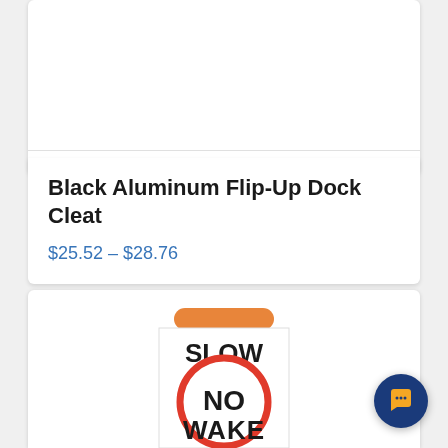[Figure (photo): Top portion of a product card showing white background (product image area, cropped)]
Black Aluminum Flip-Up Dock Cleat
$25.52 – $28.76
[Figure (photo): A cylindrical white buoy/marker with an orange band at top, text reading SLOW, a red circle with NO inside, and WAKE text at the bottom. Slow-No-Wake buoy marker.]